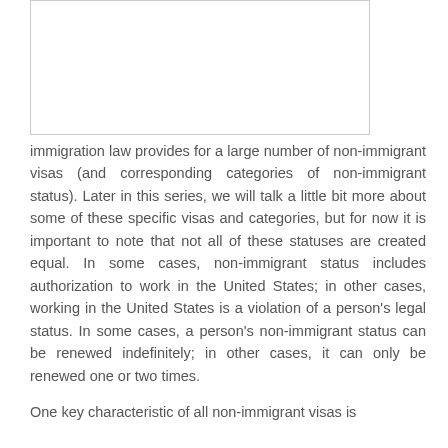[Figure (other): Empty white box with light border, likely an image placeholder.]
immigration law provides for a large number of non-immigrant visas (and corresponding categories of non-immigrant status). Later in this series, we will talk a little bit more about some of these specific visas and categories, but for now it is important to note that not all of these statuses are created equal. In some cases, non-immigrant status includes authorization to work in the United States; in other cases, working in the United States is a violation of a person's legal status. In some cases, a person's non-immigrant status can be renewed indefinitely; in other cases, it can only be renewed one or two times.
One key characteristic of all non-immigrant visas is